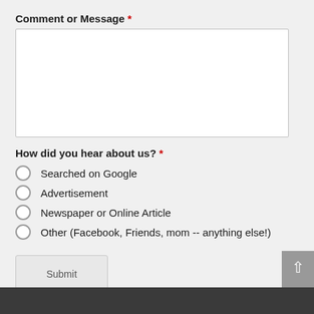Comment or Message *
[textarea field]
How did you hear about us? *
Searched on Google
Advertisement
Newspaper or Online Article
Other (Facebook, Friends, mom -- anything else!)
Submit